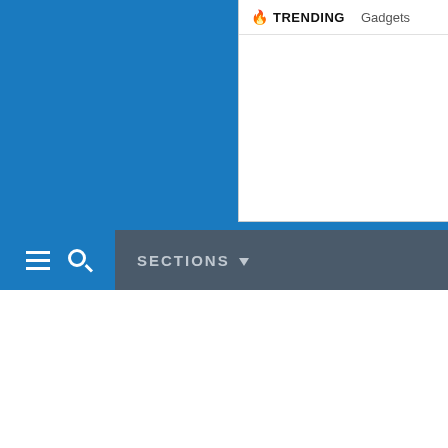[Figure (screenshot): Website navigation bar with blue background on left side and trending panel on top right showing 'TRENDING' and 'Gadgets' tabs]
TRENDING  Gadgets
SECTIONS ▼
[Figure (photo): Row of four blenders: red KitchenAid blender, black blender with fruits and ice, clear Cuisinart blender, and stainless steel blender with greens]
BEST BLENDER